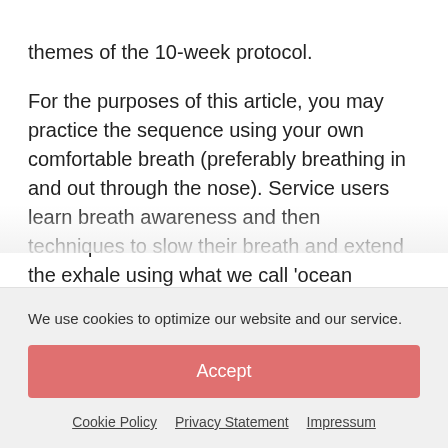themes of the 10-week protocol.

For the purposes of this article, you may practice the sequence using your own comfortable breath (preferably breathing in and out through the nose). Service users learn breath awareness and then techniques to slow their breath and extend the exhale using what we call ‘ocean breathing’. This is our non-Sanskrit term for ujjayi breathing, used because we offer a secular and inclusive programme in line with NHS requirements. We
We use cookies to optimize our website and our service.
Accept
Cookie Policy   Privacy Statement   Impressum